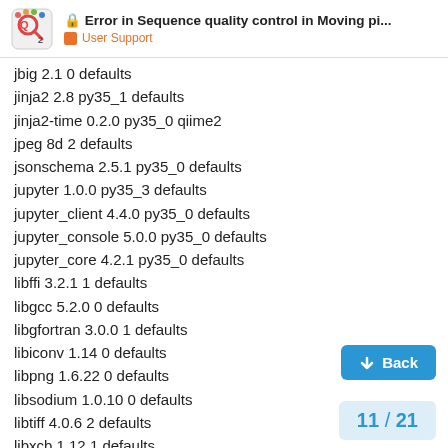Error in Sequence quality control in Moving pi... | User Support
jbig 2.1 0 defaults
jinja2 2.8 py35_1 defaults
jinja2-time 0.2.0 py35_0 qiime2
jpeg 8d 2 defaults
jsonschema 2.5.1 py35_0 defaults
jupyter 1.0.0 py35_3 defaults
jupyter_client 4.4.0 py35_0 defaults
jupyter_console 5.0.0 py35_0 defaults
jupyter_core 4.2.1 py35_0 defaults
libffi 3.2.1 1 defaults
libgcc 5.2.0 0 defaults
libgfortran 3.0.0 1 defaults
libiconv 1.14 0 defaults
libpng 1.6.22 0 defaults
libsodium 1.0.10 0 defaults
libtiff 4.0.6 2 defaults
libxcb 1.12 1 defaults
libxml2 2.9.4 0 defaults
lockfile 0.12.2 py35_0 defaults